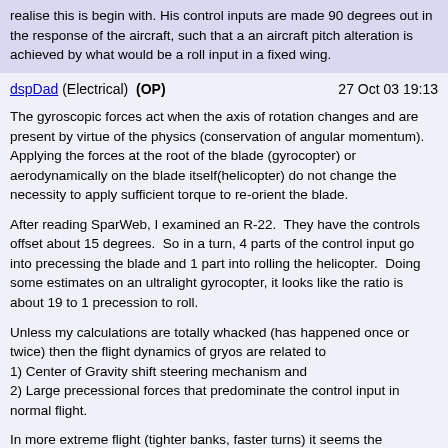realise this is begin with. His control inputs are made 90 degrees out in the response of the aircraft, such that a an aircraft pitch alteration is achieved by what would be a roll input in a fixed wing.
dspDad (Electrical)  (OP)    27 Oct 03 19:13
The gyroscopic forces act when the axis of rotation changes and are present by virtue of the physics (conservation of angular momentum). Applying the forces at the root of the blade (gyrocopter) or aerodynamically on the blade itself(helicopter) do not change the necessity to apply sufficient torque to re-orient the blade.
After reading SparWeb, I examined an R-22.  They have the controls offset about 15 degrees.  So in a turn, 4 parts of the control input go into precessing the blade and 1 part into rolling the helicopter.  Doing some estimates on an ultralight gyrocopter, it looks like the ratio is about 19 to 1 precession to roll.
Unless my calculations are totally whacked (has happened once or twice) then the flight dynamics of gryos are related to
1) Center of Gravity shift steering mechanism and
2) Large precessional forces that predominate the control input in normal flight.
In more extreme flight (tighter banks, faster turns) it seems the problems would be exagerated.
Any confirmation or rebuttal of this analysis so far?
Thanks